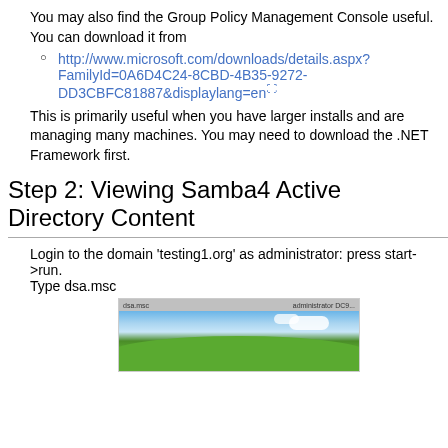You may also find the Group Policy Management Console useful. You can download it from
http://www.microsoft.com/downloads/details.aspx?FamilyId=0A6D4C24-8CBD-4B35-9272-DD3CBFC81887&displaylang=en
This is primarily useful when you have larger installs and are managing many machines. You may need to download the .NET Framework first.
Step 2: Viewing Samba4 Active Directory Content
Login to the domain 'testing1.org' as administrator: press start->run.
Type dsa.msc
[Figure (screenshot): Windows XP desktop screenshot showing the classic bliss wallpaper with green hill and blue sky, with a window taskbar at the top showing labels like 'dsa.msc' and 'administrator DC9...']